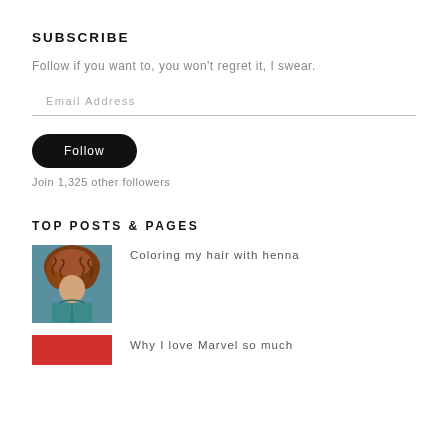SUBSCRIBE
Follow if you want to, you won't regret it, I swear.
Email Address
Follow
Join 1,325 other followers
TOP POSTS & PAGES
[Figure (photo): Thumbnail photo of a person with curly reddish-brown hair wearing a teal jacket]
Coloring my hair with henna
[Figure (photo): Red thumbnail image placeholder]
Why I love Marvel so much